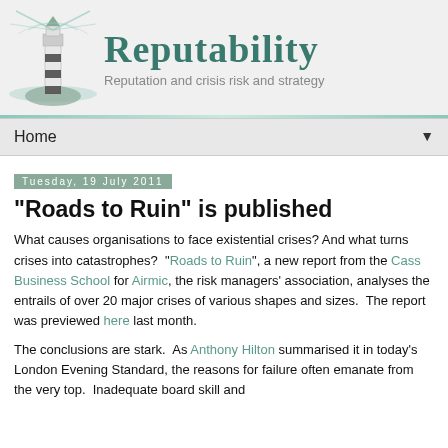[Figure (logo): Reputability logo with lighthouse illustration and text 'Reputability — Reputation and crisis risk and strategy']
Home ▼
Tuesday, 19 July 2011
"Roads to Ruin" is published
What causes organisations to face existential crises? And what turns crises into catastrophes?  "Roads to Ruin", a new report from the Cass Business School for Airmic, the risk managers' association, analyses the entrails of over 20 major crises of various shapes and sizes.  The report was previewed here last month.
The conclusions are stark.  As Anthony Hilton summarised it in today's London Evening Standard, the reasons for failure often emanate from the very top.  Inadequate board skill and